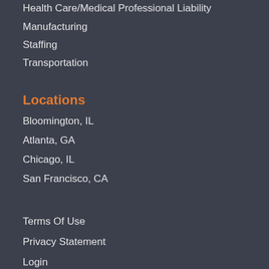Health Care/Medical Professional Liability
Manufacturing
Staffing
Transportation
Locations
Bloomington, IL
Atlanta, GA
Chicago, IL
San Francisco, CA
Terms Of Use
Privacy Statement
Login
Register
Full Site Map